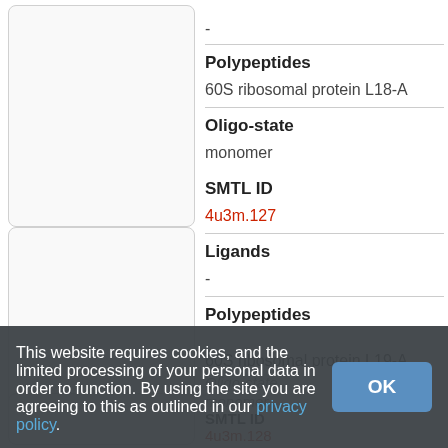-
Polypeptides
60S ribosomal protein L18-A
Oligo-state
monomer
SMTL ID
4u3m.127
Ligands
-
Polypeptides
60S ribosomal protein L19-A
Oligo-state
monomer
SMTL ID
4u3m.128
This website requires cookies, and the limited processing of your personal data in order to function. By using the site you are agreeing to this as outlined in our privacy policy.